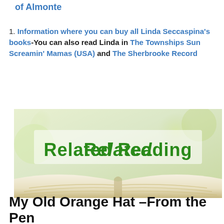of Almonte
Information where you can buy all Linda Seccaspina's books-You can also read Linda in The Townships Sun  Screamin' Mamas (USA)  and The Sherbrooke Record
[Figure (illustration): Related Reading banner image showing an open book with green bold text 'Related Reading' on a light background]
My Old Orange Hat –From the Pen of Noreen Tyers of Perth